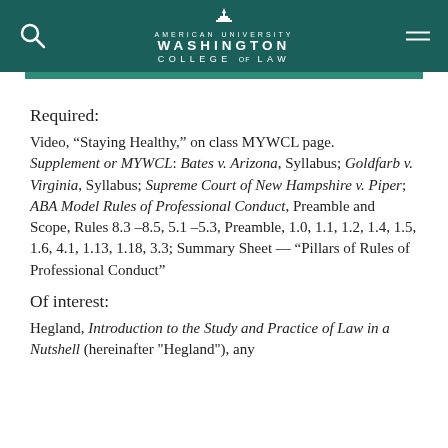American University Washington College of Law
Required:
Video, “Staying Healthy,” on class MYWCL page. Supplement or MYWCL: Bates v. Arizona, Syllabus; Goldfarb v. Virginia, Syllabus; Supreme Court of New Hampshire v. Piper; ABA Model Rules of Professional Conduct, Preamble and Scope, Rules 8.3 –8.5, 5.1 –5.3, Preamble, 1.0, 1.1, 1.2, 1.4, 1.5, 1.6, 4.1, 1.13, 1.18, 3.3; Summary Sheet -- “Pillars of Rules of Professional Conduct”
Of interest:
Hegland, Introduction to the Study and Practice of Law in a Nutshell (hereinafter "Hegland"), any